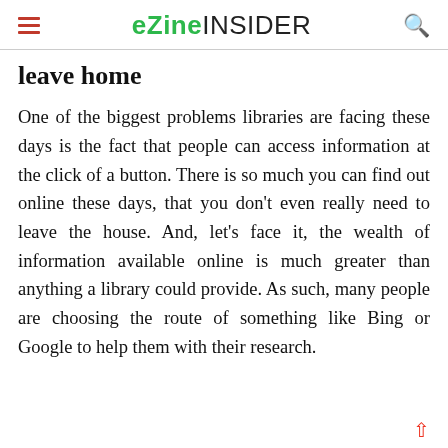eZine INSIDER
leave home
One of the biggest problems libraries are facing these days is the fact that people can access information at the click of a button. There is so much you can find out online these days, that you don't even really need to leave the house. And, let's face it, the wealth of information available online is much greater than anything a library could provide. As such, many people are choosing the route of something like Bing or Google to help them with their research.